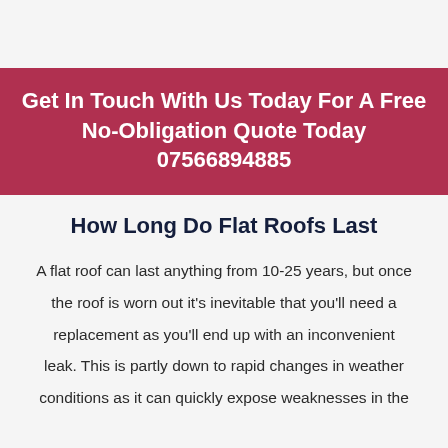Get In Touch With Us Today For A Free No-Obligation Quote Today 07566894885
How Long Do Flat Roofs Last
A flat roof can last anything from 10-25 years, but once the roof is worn out it's inevitable that you'll need a replacement as you'll end up with an inconvenient leak. This is partly down to rapid changes in weather conditions as it can quickly expose weaknesses in the